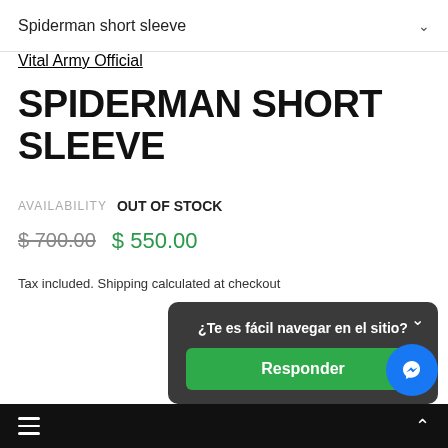Spiderman short sleeve
Vital Army Official
SPIDERMAN SHORT SLEEVE
AVAILABILITY   OUT OF STOCK
$ 700.00   $ 550.00
Tax included. Shipping calculated at checkout
¿Te es fácil navegar en el sitio?
Responder